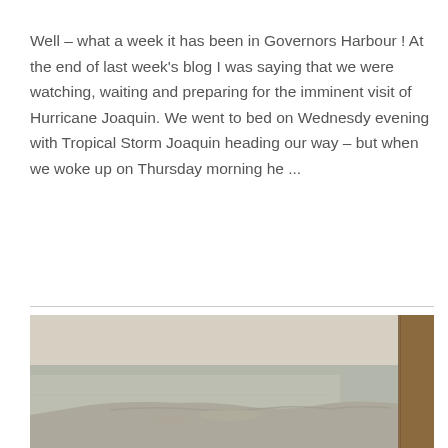Well – what a week it has been in Governors Harbour ! At the end of last week's blog I was saying that we were watching, waiting and preparing for the imminent visit of Hurricane Joaquin. We went to bed on Wednesdy evening with Tropical Storm Joaquin heading our way – but when we woke up on Thursday morning he ...
Read More
[Figure (photo): Aerial photograph of a coastline with shallow water and land formations, viewed through what appears to be an airplane window with a brown frame on the right side. The image has a hazy, muted tone.]